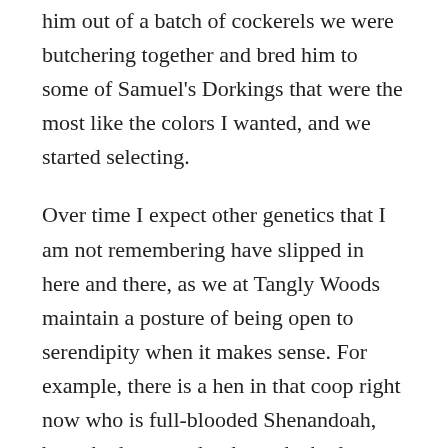him out of a batch of cockerels we were butchering together and bred him to some of Samuel's Dorkings that were the most like the colors I wanted, and we started selecting.
Over time I expect other genetics that I am not remembering have slipped in here and there, as we at Tangly Woods maintain a posture of being open to serendipity when it makes sense. For example, there is a hen in that coop right now who is full-blooded Shenandoah, but who happened to have the body shape and some plumage characteristics of a Massanutten, and who further happened to spontaneously decide to move herself across the land from her coop of origin and join the Massanutten flock in the woods. Hmmm. Well, she will probably get bred as a Massanutten in 2024, because maybe it will be a flop or maybe it will bring great